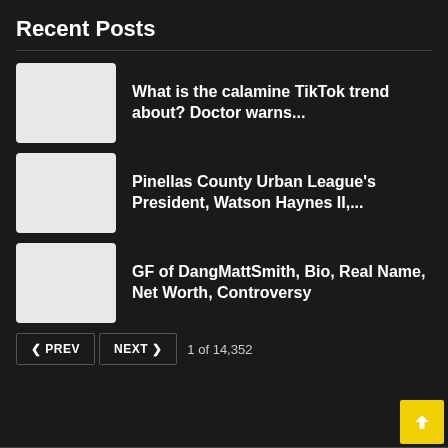Recent Posts
What is the calamine TikTok trend about? Doctor warns...
Pinellas County Urban League's President, Watson Haynes II,...
GF of DangMattSmith, Bio, Real Name, Net Worth, Controversy
« PREV  NEXT »  1 of 14,352